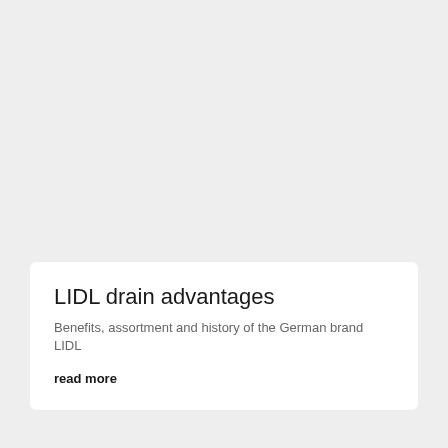LIDL drain advantages
Benefits, assortment and history of the German brand LIDL
read more